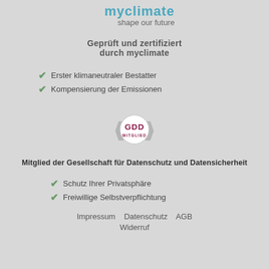[Figure (logo): myclimate logo with tagline 'shape our future']
Geprüft und zertifiziert durch myclimate
Erster klimaneutraler Bestatter
Kompensierung der Emissionen
[Figure (logo): GDD Mitglied badge - circular badge with ribbon and GDD MITGLIED text]
Mitglied der Gesellschaft für Datenschutz und Datensicherheit
Schutz Ihrer Privatsphäre
Freiwillige Selbstverpflichtung
Impressum   Datenschutz   AGB
Widerruf